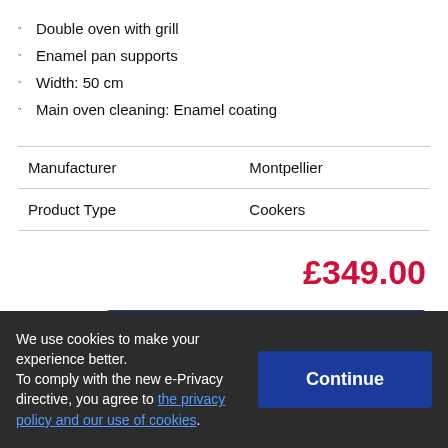Double oven with grill
Enamel pan supports
Width: 50 cm
Main oven cleaning: Enamel coating
| Manufacturer | Montpellier |
| Product Type | Cookers |
£349.00
Add to Cart
We use cookies to make your experience better. To comply with the new e-Privacy directive, you agree to the privacy policy and our use of cookies.
Continue